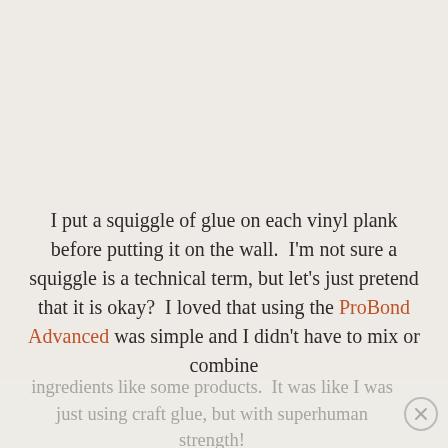I put a squiggle of glue on each vinyl plank before putting it on the wall.  I'm not sure a squiggle is a technical term, but let's just pretend that it is okay?  I loved that using the ProBond Advanced was simple and I didn't have to mix or combine ingredients like some products.  It was like I was just using craft glue, but with superhuman strength!